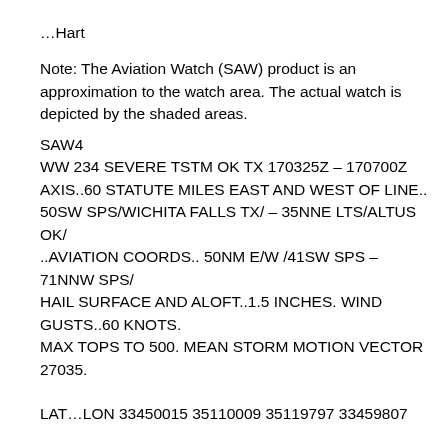…Hart
Note: The Aviation Watch (SAW) product is an approximation to the watch area. The actual watch is depicted by the shaded areas.
SAW4
WW 234 SEVERE TSTM OK TX 170325Z – 170700Z
AXIS..60 STATUTE MILES EAST AND WEST OF LINE..
50SW SPS/WICHITA FALLS TX/ – 35NNE LTS/ALTUS OK/
..AVIATION COORDS.. 50NM E/W /41SW SPS – 71NNW SPS/
HAIL SURFACE AND ALOFT..1.5 INCHES. WIND GUSTS..60 KNOTS.
MAX TOPS TO 500. MEAN STORM MOTION VECTOR 27035.
LAT…LON 33450015 35110009 35119797 33459807